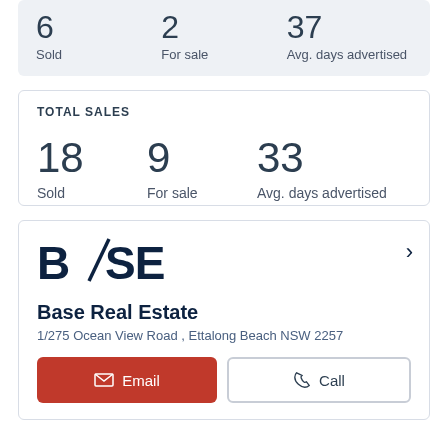6 Sold   2 For sale   37 Avg. days advertised
TOTAL SALES
18 Sold   9 For sale   33 Avg. days advertised
[Figure (logo): BASE (Base Real Estate) logo in dark navy text]
Base Real Estate
1/275 Ocean View Road , Ettalong Beach NSW 2257
Email   Call